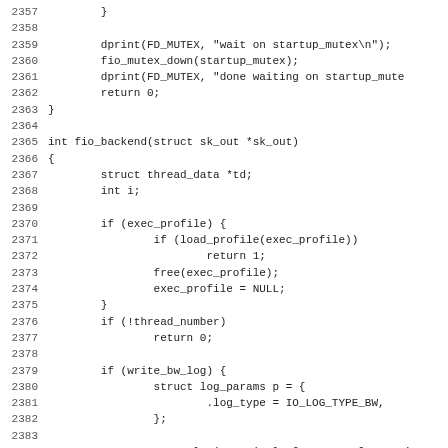[Figure (other): Source code listing in monospace font, lines 2357-2388, showing C code for fio_backend function including mutex operations, profile loading, thread checks, and log setup]